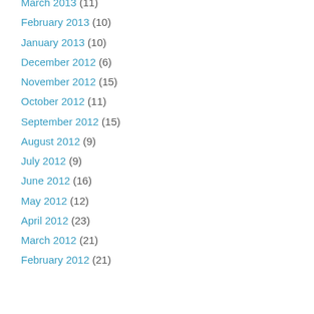March 2013 (11)
February 2013 (10)
January 2013 (10)
December 2012 (6)
November 2012 (15)
October 2012 (11)
September 2012 (15)
August 2012 (9)
July 2012 (9)
June 2012 (16)
May 2012 (12)
April 2012 (23)
March 2012 (21)
February 2012 (21)